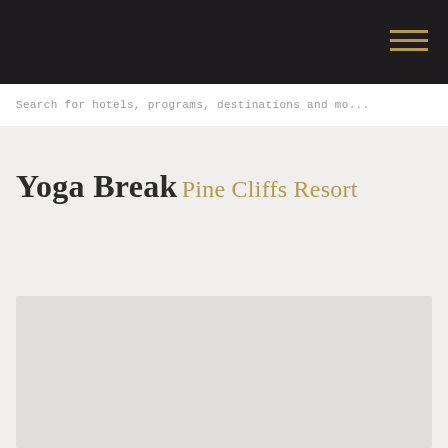Search for hotels, programs, destinations and mo...
Yoga Break
Pine Cliffs Resort
[Figure (photo): Large image placeholder area for Pine Cliffs Resort Yoga Break content]